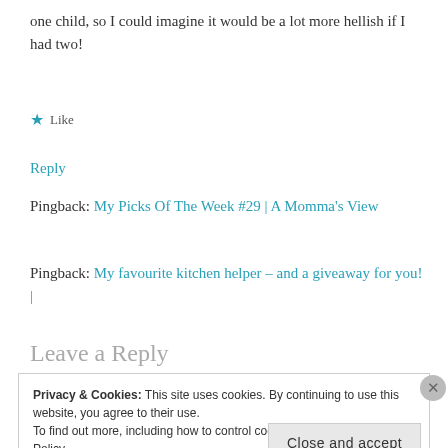one child, so I could imagine it would be a lot more hellish if I had two!
★ Like
Reply
Pingback: My Picks Of The Week #29 | A Momma's View
Pingback: My favourite kitchen helper – and a giveaway for you! |
Leave a Reply
Privacy & Cookies: This site uses cookies. By continuing to use this website, you agree to their use. To find out more, including how to control cookies, see here: Cookie Policy
Close and accept